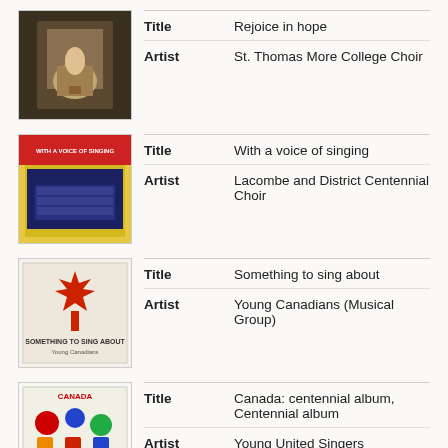| Field | Value |
| --- | --- |
| Title | Rejoice in hope |
| Artist | St. Thomas More College Choir |
| Field | Value |
| --- | --- |
| Title | With a voice of singing |
| Artist | Lacombe and District Centennial Choir |
| Field | Value |
| --- | --- |
| Title | Something to sing about |
| Artist | Young Canadians (Musical Group) |
| Field | Value |
| --- | --- |
| Title | Canada: centennial album, Centennial album |
| Artist | Young United Singers |